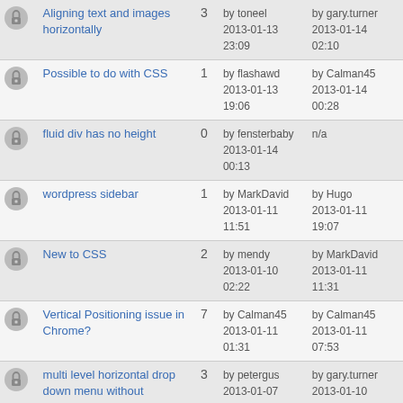|  | Topic | Replies | Posted | Last Post |
| --- | --- | --- | --- | --- |
| [icon] | Aligning text and images horizontally | 3 | by toneel
2013-01-13
23:09 | by gary.turner
2013-01-14
02:10 |
| [icon] | Possible to do with CSS | 1 | by flashawd
2013-01-13
19:06 | by Calman45
2013-01-14
00:28 |
| [icon] | fluid div has no height | 0 | by fensterbaby
2013-01-14
00:13 | n/a |
| [icon] | wordpress sidebar | 1 | by MarkDavid
2013-01-11
11:51 | by Hugo
2013-01-11
19:07 |
| [icon] | New to CSS | 2 | by mendy
2013-01-10
02:22 | by MarkDavid
2013-01-11
11:31 |
| [icon] | Vertical Positioning issue in Chrome? | 7 | by Calman45
2013-01-11
01:31 | by Calman45
2013-01-11
07:53 |
| [icon] | multi level horizontal drop down menu without absolute position | 3 | by petergus
2013-01-07
10:00 | by gary.turner
2013-01-10
18:26 |
| [icon] | New Wordpress theme - Twenty Twelve - top margin on page | 3 | by jennym
2013-01-09
13:20 | by Hugo
2013-01-09
15:36 |
| [icon] | ... | 2 | by befree22
2013-01-07 | by Calman45
2013-01-08 |